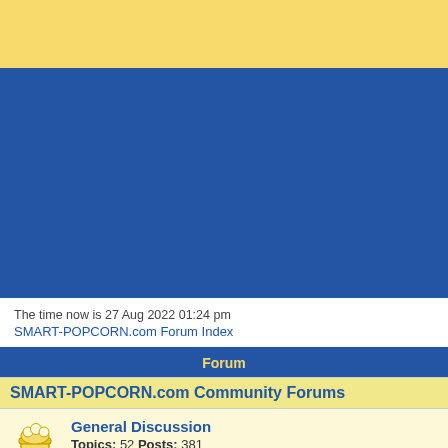[Figure (other): Yellow top banner background]
[Figure (other): Blue banner/header background]
The time now is 27 Aug 2022 01:24 pm
SMART-POPCORN.com Forum Index
Forum
SMART-POPCORN.com Community Forums
General Discussion
Topics: 52 Posts: 381
Talk amongst yourselves in the General Discussion forum. Say hello, engage in (fri when those D-Backs will make it to the series... Anything goes.
NEW: Podcast
Topics: 32 Posts: 256
Are you corn-fed? Is that popcorn in your pocket, or what? Any and all discussion r belongs in here.
Hollywood Stop
Topics: 356 Posts: 1836